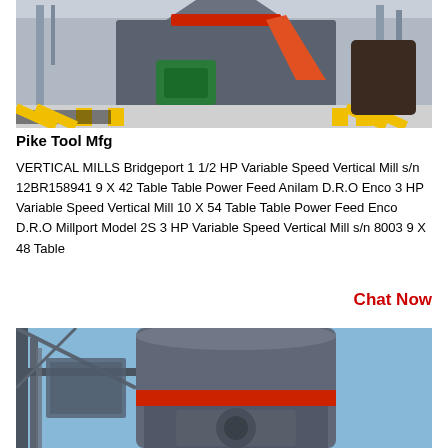[Figure (photo): Industrial machine (vertical mill/crusher) inside a large factory warehouse with safety-striped yellow-black floor markings]
Pike Tool Mfg
VERTICAL MILLS Bridgeport 1 1/2 HP Variable Speed Vertical Mill s/n 12BR158941 9 X 42 Table Table Power Feed Anilam D.R.O Enco 3 HP Variable Speed Vertical Mill 10 X 54 Table Table Power Feed Enco D.R.O Millport Model 2S 3 HP Variable Speed Vertical Mill s/n 8003 9 X 48 Table
Chat Now
[Figure (photo): Large industrial vertical mill or grinding machine viewed from below against a blue sky, with red accent ring and structural steel scaffolding]